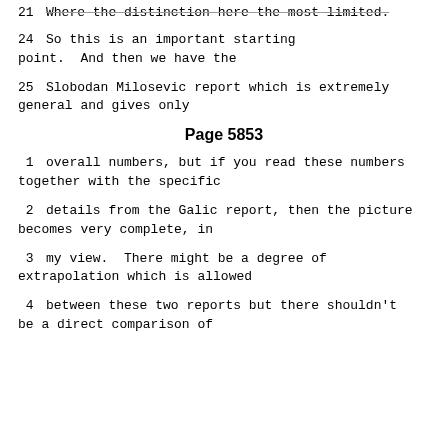21    Where the distinction here the most limited.
24        So this is an important starting point.  And then we have the
25     Slobodan Milosevic report which is extremely general and gives only
Page 5853
1      overall numbers, but if you read these numbers together with the specific
2      details from the Galic report, then the picture becomes very complete, in
3      my view.  There might be a degree of extrapolation which is allowed
4      between these two reports but there shouldn't be a direct comparison of